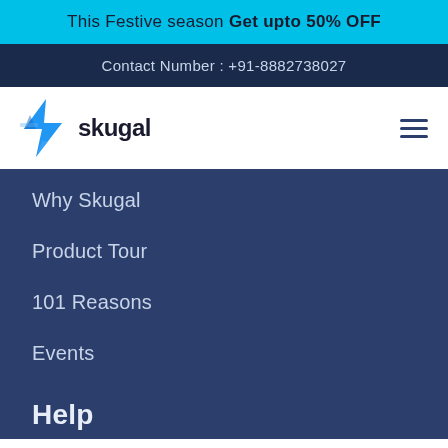This Festive season Get upto 50% OFF
Contact Number : +91-8882738027
[Figure (logo): Skugal logo with blue lightning bolt icon and 'skugal' text in dark color]
Why Skugal
Product Tour
101 Reasons
Events
Help